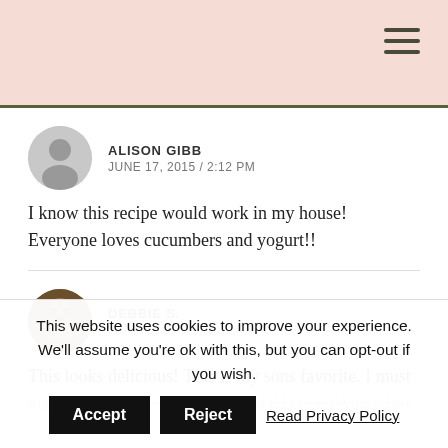ALISON GIBB
JUNE 17, 2015 / 2:12 PM
I know this recipe would work in my house! Everyone loves cucumbers and yogurt!!
DEBBIE S.
JUNE 17, 2015 / 5:02 PM
This looks delicious! This is my sons favorite. I must make your recipe! Thanks. I added this to my Yumprint!
This website uses cookies to improve your experience. We'll assume you're ok with this, but you can opt-out if you wish.  Accept  Reject  Read Privacy Policy